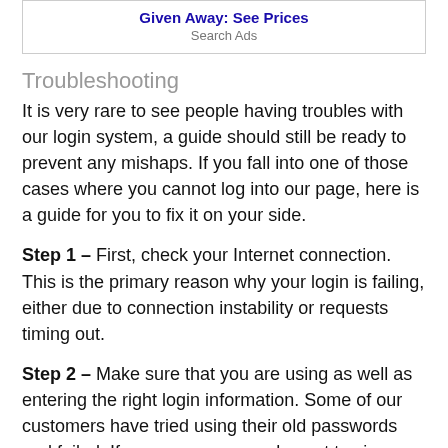[Figure (other): Ad box with title 'Given Away: See Prices' and source 'Search Ads']
Troubleshooting
It is very rare to see people having troubles with our login system, a guide should still be ready to prevent any mishaps. If you fall into one of those cases where you cannot log into our page, here is a guide for you to fix it on your side.
Step 1 – First, check your Internet connection. This is the primary reason why your login is failing, either due to connection instability or requests timing out.
Step 2 – Make sure that you are using as well as entering the right login information. Some of our customers have tried using their old passwords and failed. If you can, you can also opt to view your passwords as you type it.